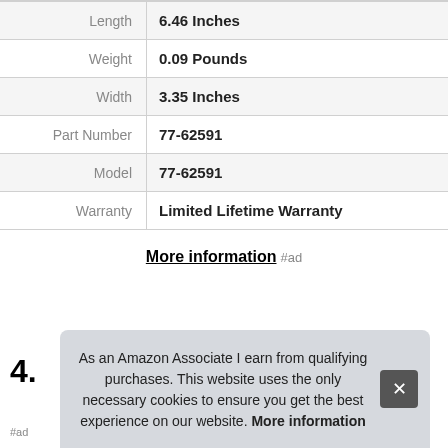| Attribute | Value |
| --- | --- |
| Length | 6.46 Inches |
| Weight | 0.09 Pounds |
| Width | 3.35 Inches |
| Part Number | 77-62591 |
| Model | 77-62591 |
| Warranty | Limited Lifetime Warranty |
More information #ad
4.
As an Amazon Associate I earn from qualifying purchases. This website uses the only necessary cookies to ensure you get the best experience on our website. More information
#ad